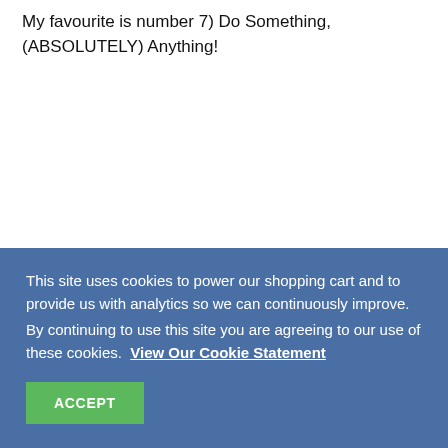My favourite is number 7) Do Something, (ABSOLUTELY) Anything!
This site uses cookies to power our shopping cart and to provide us with analytics so we can continuously improve. By continuing to use this site you are agreeing to our use of these cookies.  View Our Cookie Statement
ACCEPT